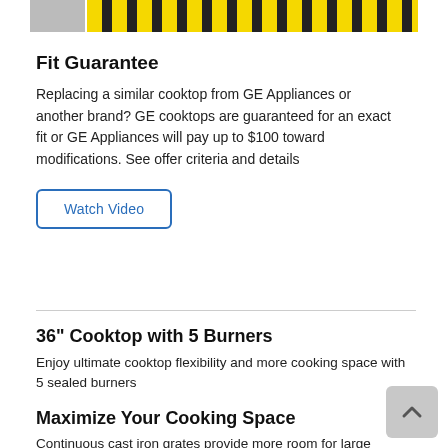[Figure (illustration): Striped yellow and black pattern banner at top of page with a grey square on the left side]
Fit Guarantee
Replacing a similar cooktop from GE Appliances or another brand? GE cooktops are guaranteed for an exact fit or GE Appliances will pay up to $100 toward modifications. See offer criteria and details
Watch Video
36" Cooktop with 5 Burners
Enjoy ultimate cooktop flexibility and more cooking space with 5 sealed burners
Maximize Your Cooking Space
Continuous cast iron grates provide more room for large